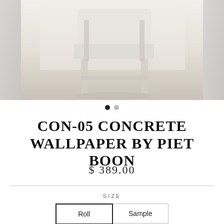[Figure (photo): Product lifestyle photo showing a white/light grey minimalist chair against a concrete-textured wallpaper background, with concrete texture panels on left and right sides. Two navigation dots below the image indicate a carousel.]
CON-05 CONCRETE WALLPAPER BY PIET BOON
$ 389.00
SIZE
Roll
Sample